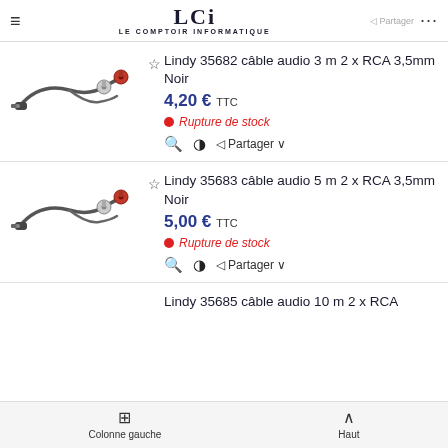LCI LE COMPTOIR INFORMATIQUE
Lindy 35682 câble audio 3 m 2 x RCA 3,5mm Noir
4,20 € TTC
Rupture de stock
Lindy 35683 câble audio 5 m 2 x RCA 3,5mm Noir
5,00 € TTC
Rupture de stock
Lindy 35685 câble audio 10 m 2 x RCA
Colonne gauche    Haut